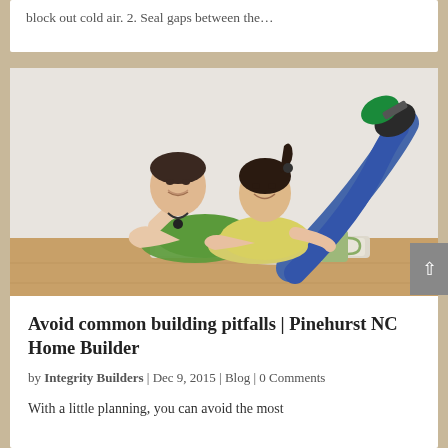block out cold air. 2. Seal gaps between the…
[Figure (photo): A young couple lying on the floor looking at house blueprints together, smiling. The man wears a green shirt, the woman wears a yellow top and jeans. A green mug sits nearby on a wooden floor.]
Avoid common building pitfalls | Pinehurst NC Home Builder
by Integrity Builders | Dec 9, 2015 | Blog | 0 Comments
With a little planning, you can avoid the most